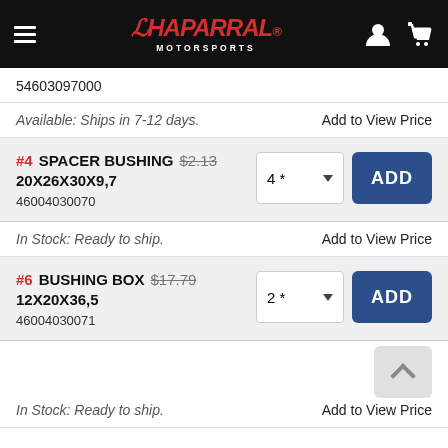Chaparral Motorsports
54603097000
Available: Ships in 7-12 days.    Add to View Price
#4 SPACER BUSHING $2.13 20X26X30X9,7 46004030070
In Stock: Ready to ship.    Add to View Price
#6 BUSHING BOX $17.79 12X20X36,5 46004030071
In Stock: Ready to ship.    Add to View Price